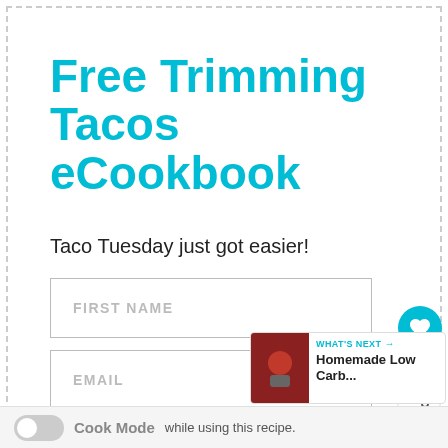Free Trimming Tacos eCookbook
Taco Tuesday just got easier!
FIRST NAME
EMAIL
SUBSCRIBE
393
WHAT'S NEXT → Homemade Low Carb...
Cook Mode while using this recipe.